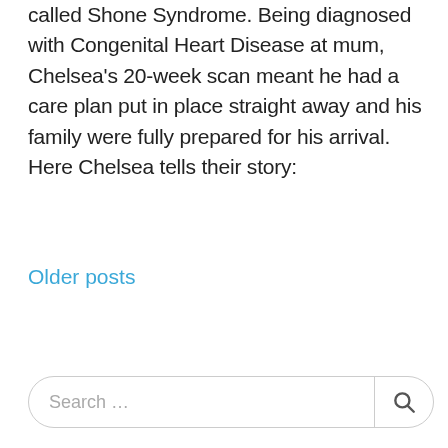called Shone Syndrome. Being diagnosed with Congenital Heart Disease at mum, Chelsea's 20-week scan meant he had a care plan put in place straight away and his family were fully prepared for his arrival. Here Chelsea tells their story:
Older posts